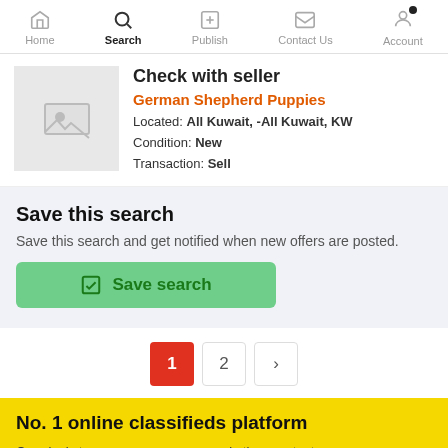Home | Search | Publish | Contact Us | Account
Check with seller
German Shepherd Puppies
Located: All Kuwait, -All Kuwait, KW
Condition: New
Transaction: Sell
Save this search
Save this search and get notified when new offers are posted.
Save search
1  2  >
No. 1 online classifieds platform
Our aim is to empower every person in the country to